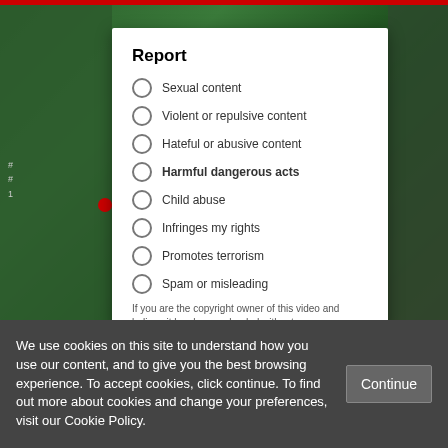Report
Sexual content
Violent or repulsive content
Hateful or abusive content
Harmful dangerous acts
Child abuse
Infringes my rights
Promotes terrorism
Spam or misleading
If you are the copyright owner of this video and believe it has been uploaded without your permission, please follow these directions to submit a copyright infringement notice
We use cookies on this site to understand how you use our content, and to give you the best browsing experience. To accept cookies, click continue. To find out more about cookies and change your preferences, visit our Cookie Policy.